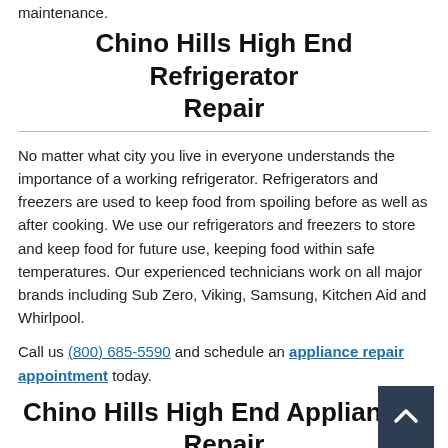maintenance.
Chino Hills High End Refrigerator Repair
No matter what city you live in everyone understands the importance of a working refrigerator. Refrigerators and freezers are used to keep food from spoiling before as well as after cooking. We use our refrigerators and freezers to store and keep food for future use, keeping food within safe temperatures. Our experienced technicians work on all major brands including Sub Zero, Viking, Samsung, Kitchen Aid and Whirlpool.
Call us (800) 685-5590 and schedule an appliance repair appointment today.
Chino Hills High End Appliances Repair
Manufacturers such as Viking, Thermador, and Wolf for ex... are well known and make ovens and ranges that are designed to function well and stand up to continual everyday use in our homes